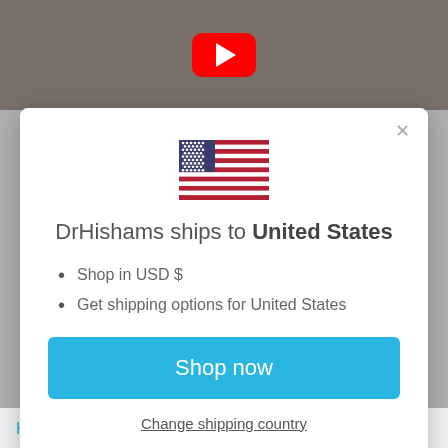[Figure (screenshot): Top portion of a webpage showing a video thumbnail with YouTube play button, partially visible behind a modal dialog]
[Figure (illustration): US flag icon centered in the modal dialog]
DrHishams ships to United States
Shop in USD $
Get shipping options for United States
Shop now
Change shipping country
How Toothmousse inspired me to do better &